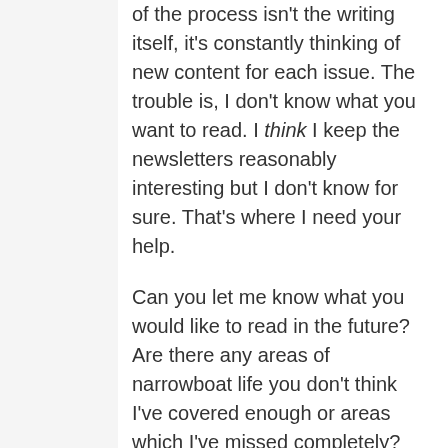of the process isn't the writing itself, it's constantly thinking of new content for each issue. The trouble is, I don't know what you want to read. I think I keep the newsletters reasonably interesting but I don't know for sure. That's where I need your help.

Can you let me know what you would like to read in the future? Are there any areas of narrowboat life you don't think I've covered enough or areas which I've missed completely? Please let me know what you want to read about. Thanks for your help.
Newsletter Index